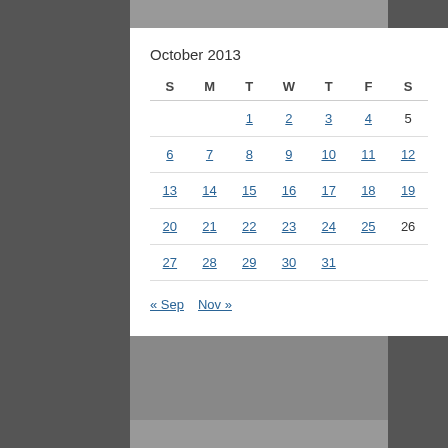October 2013
| S | M | T | W | T | F | S |
| --- | --- | --- | --- | --- | --- | --- |
|  |  | 1 | 2 | 3 | 4 | 5 |
| 6 | 7 | 8 | 9 | 10 | 11 | 12 |
| 13 | 14 | 15 | 16 | 17 | 18 | 19 |
| 20 | 21 | 22 | 23 | 24 | 25 | 26 |
| 27 | 28 | 29 | 30 | 31 |  |  |
« Sep   Nov »